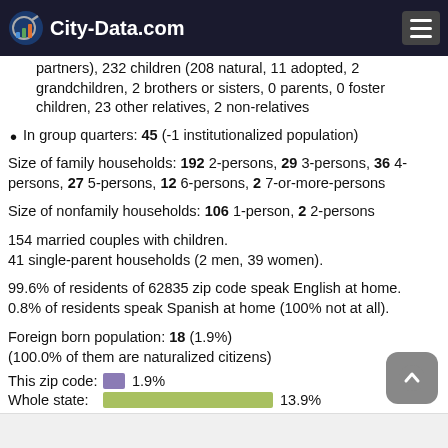City-Data.com
partners), 232 children (208 natural, 11 adopted, 2 grandchildren, 2 brothers or sisters, 0 parents, 0 foster children, 23 other relatives, 2 non-relatives
In group quarters: 45 (-1 institutionalized population)
Size of family households: 192 2-persons, 29 3-persons, 36 4-persons, 27 5-persons, 12 6-persons, 2 7-or-more-persons
Size of nonfamily households: 106 1-person, 2 2-persons
154 married couples with children.
41 single-parent households (2 men, 39 women).
99.6% of residents of 62835 zip code speak English at home. 0.8% of residents speak Spanish at home (100% not at all).
Foreign born population: 18 (1.9%)
(100.0% of them are naturalized citizens)
This zip code: 1.9%
Whole state: 13.9%